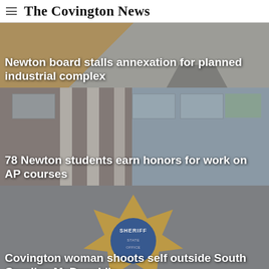The Covington News
Newton board stalls annexation for planned industrial complex
[Figure (photo): Background photo of building with brownish and grey tones, overlaid with news headline about Newton board annexation]
78 Newton students earn honors for work on AP courses
[Figure (photo): Photo of a brick school building with large windows and columns, grey sky background]
Covington woman shoots self outside South Carolina McDonald's
[Figure (photo): Photo of a sheriff badge/star against a grey background]